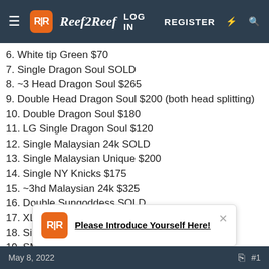Reef2Reef — LOG IN  REGISTER
6. White tip Green $70
7. Single Dragon Soul SOLD
8. ~3 Head Dragon Soul $265
9. Double Head Dragon Soul $200 (both head splitting)
10. Double Dragon Soul $180
11. LG Single Dragon Soul $120
12. Single Malaysian 24k SOLD
13. Single Malaysian Unique $200
14. Single NY Knicks $175
15. ~3hd Malaysian 24k $325
16. Double Sungoddess SOLD
17. XL Banana SOLD
18. Single Banana SOLD
19. SM No Name...
Please Introduce Yourself Here!
May 8, 2022  #1